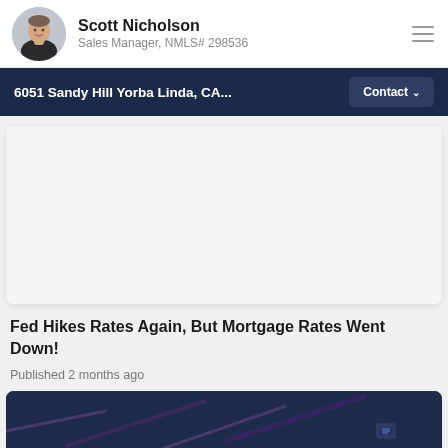Scott Nicholson, Sales Manager, NMLS# 298536
6051 Sandy Hill Yorba Linda, CA...
Contact
[Figure (photo): White card placeholder image area]
Fed Hikes Rates Again, But Mortgage Rates Went Down!
Published 2 months ago
[Figure (photo): Dark blue partial card image at bottom of page]